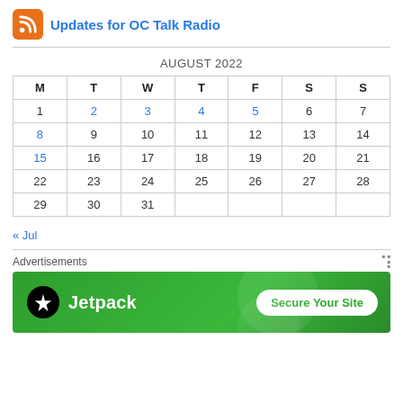Updates for OC Talk Radio
| M | T | W | T | F | S | S |
| --- | --- | --- | --- | --- | --- | --- |
| 1 | 2 | 3 | 4 | 5 | 6 | 7 |
| 8 | 9 | 10 | 11 | 12 | 13 | 14 |
| 15 | 16 | 17 | 18 | 19 | 20 | 21 |
| 22 | 23 | 24 | 25 | 26 | 27 | 28 |
| 29 | 30 | 31 |  |  |  |  |
« Jul
[Figure (screenshot): Jetpack advertisement banner with 'Secure Your Site' CTA button on green background]